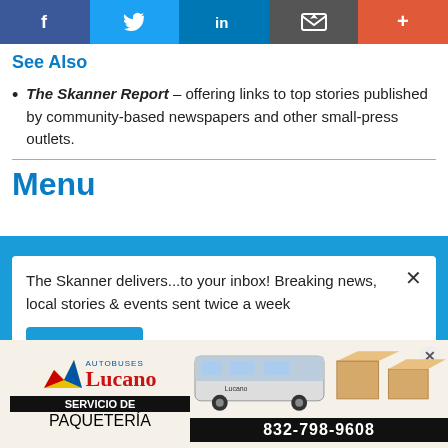[Figure (other): Social media share bar with Facebook, Twitter, LinkedIn, Email, and plus buttons]
See Also
The Skanner Report – offering links to top stories published by community-based newspapers and other small-press outlets.
Menu
The Skanner delivers...to your inbox! Breaking news, local stories & events sent twice a week
Subscribe
[Figure (infographic): Advertisement for Autobuses Lucano Servicio de Paquetería with phone number 832-798-9608]